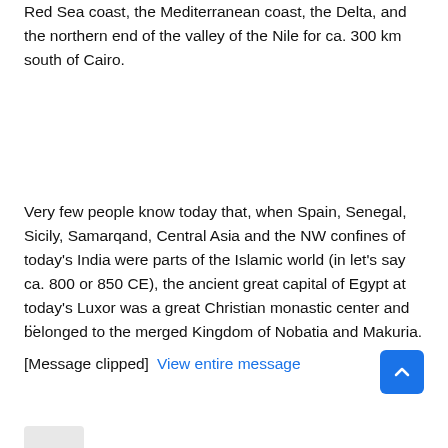Red Sea coast, the Mediterranean coast, the Delta, and the northern end of the valley of the Nile for ca. 300 km south of Cairo.
Very few people know today that, when Spain, Senegal, Sicily, Samarqand, Central Asia and the NW confines of today's India were parts of the Islamic world (in let's say ca. 800 or 850 CE), the ancient great capital of Egypt at today's Luxor was a great Christian monastic center and belonged to the merged Kingdom of Nobatia and Makuria.
...
[Message clipped]  View entire message